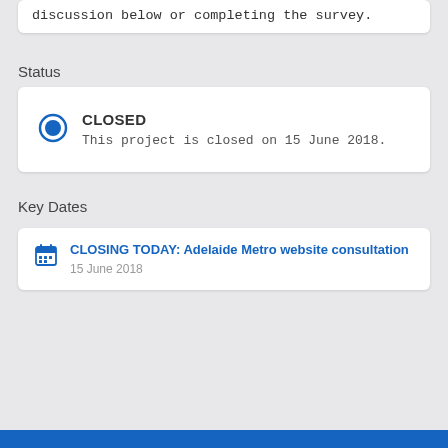discussion below or completing the survey.
Status
CLOSED
This project is closed on 15 June 2018.
Key Dates
CLOSING TODAY: Adelaide Metro website consultation
15 June 2018